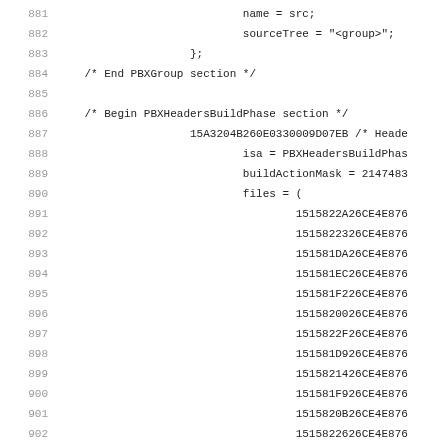881    name = src;
882    sourceTree = "<group>";
883    };
884    /* End PBXGroup section */
885
886    /* Begin PBXHeadersBuildPhase section */
887    15A3204B260E0330009D07EB /* Heade
888    isa = PBXHeadersBuildPhas
889    buildActionMask = 2147483
890    files = (
891    1515822A26CE4E876
892    1515822326CE4E876
893    151581DA26CE4E876
894    151581EC26CE4E876
895    151581F226CE4E876
896    1515820026CE4E876
897    1515822F26CE4E876
898    151581D926CE4E876
899    1515821426CE4E876
900    151581F926CE4E876
901    1515820B26CE4E876
902    1515822626CE4E876
903    151581EB26CE4E876